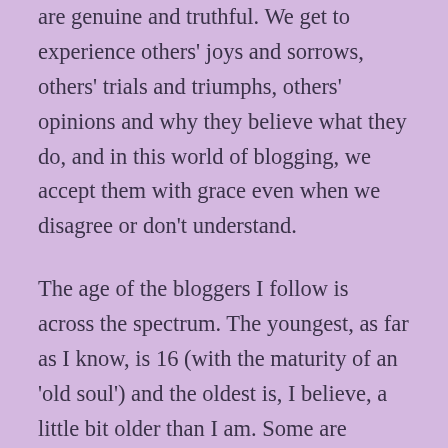are genuine and truthful. We get to experience others' joys and sorrows, others' trials and triumphs, others' opinions and why they believe what they do, and in this world of blogging, we accept them with grace even when we disagree or don't understand.
The age of the bloggers I follow is across the spectrum. The youngest, as far as I know, is 16 (with the maturity of an 'old soul') and the oldest is, I believe, a little bit older than I am. Some are amazing storytellers and everything they write is worth reading simply to enjoy the way the story unfolds. Some writers just share little tidbits of their day and some write from the innermost depths of their soul. Some, like me, are all over the place, simply writing whatever is in the forefront of our thoughts as we sit down to the keyboard. Some follow a